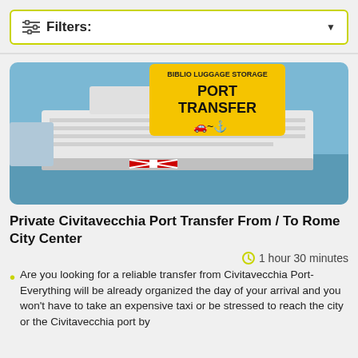Filters:
[Figure (photo): A cruise ship docked at port with a yellow sign overlay reading 'PORT TRANSFER' with car and ship icons, and 'BIBLIO LUGGAGE STORAGE' text at the top.]
Private Civitavecchia Port Transfer From / To Rome City Center
1 hour 30 minutes
Are you looking for a reliable transfer from Civitavecchia Port-
Everything will be already organized the day of your arrival and you won't have to take an expensive taxi or be stressed to reach the city or the Civitavecchia port by